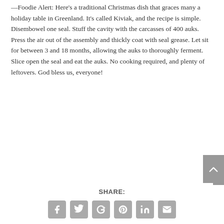—Foodie Alert: Here's a traditional Christmas dish that graces many a holiday table in Greenland. It's called Kiviak, and the recipe is simple. Disembowel one seal. Stuff the cavity with the carcasses of 400 auks. Press the air out of the assembly and thickly coat with seal grease. Let sit for between 3 and 18 months, allowing the auks to thoroughly ferment. Slice open the seal and eat the auks. No cooking required, and plenty of leftovers. God bless us, everyone!
SHARE: